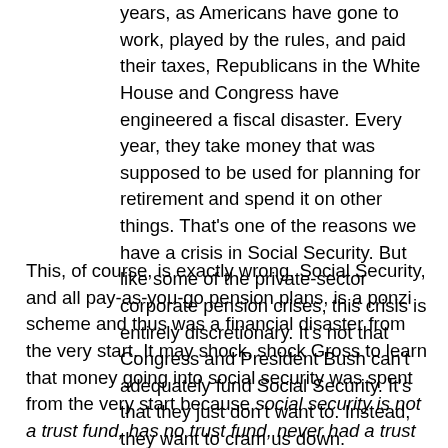years, as Americans have gone to work, played by the rules, and paid their taxes, Republicans in the White House and Congress have engineered a fiscal disaster. Every year, they take money that was supposed to be used for planning for retirement and spend it on other things. That's one of the reasons we have a crisis in Social Security. But like some of the private-sector corporate pension crises, this crisis is entirely discretionary. It's not that Congress and President Bush can't adequately fund Social Security. It's that they just don't want to. Instead, they want to cram us down.
This, of course, is exactly wrong. Social Security, and all pay-as-you-go pension plans, is a ponzi scheme and thus was a financial disaster from the very start. It may shock, shock Gross to learn that money going into social security was spent from the very start because social security is not a trust fund, has no trust fund, never had a trust fund, it's a pay-as-you-go system that taxes current workers to pay current retirees.